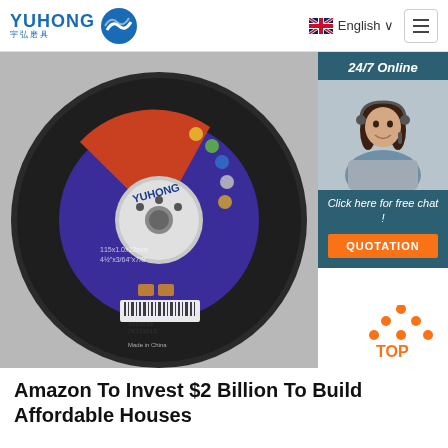YUHONG 宇弘磨具 | English | Menu
[Figure (photo): A circular grinding/cutting disc with blue and red/orange label reading 'YUHONG' in the center, with a silver arbor hole and barcode at the bottom. The disc has a textured black abrasive surface.]
[Figure (photo): 24/7 Online chat widget with a female customer service representative wearing a headset. Below her image: 'Click here for free chat!' and an orange QUOTATION button.]
[Figure (illustration): Orange 'TOP' scroll-to-top button with upward-pointing triangle dots icon above the word TOP in orange text.]
Amazon To Invest $2 Billion To Build Affordable Houses